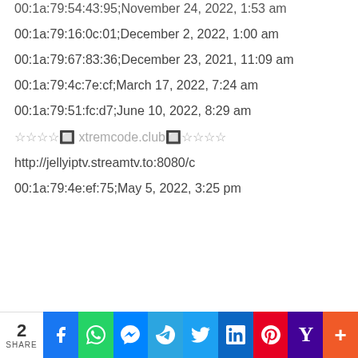00:1a:79:54:43:95;November 24, 2022, 1:53 am
00:1a:79:16:0c:01;December 2, 2022, 1:00 am
00:1a:79:67:83:36;December 23, 2021, 11:09 am
00:1a:79:4c:7e:cf;March 17, 2022, 7:24 am
00:1a:79:51:fc:d7;June 10, 2022, 8:29 am
☆☆☆☆🔲 xtremcode.club🔲☆☆☆☆
http://jellyiptv.streamtv.to:8080/c
00:1a:79:4e:ef:75;May 5, 2022, 3:25 pm
2 SHARE | Facebook | WhatsApp | Messenger | Telegram | Twitter | LinkedIn | Pinterest | Yahoo | More